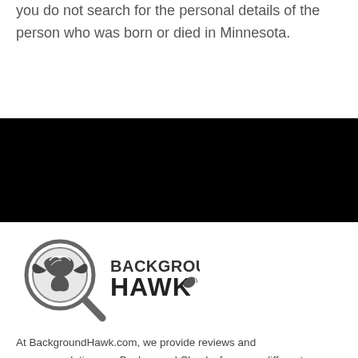you do not search for the personal details of the person who was born or died in Minnesota.
[Figure (logo): BackgroundHawk logo with magnifying glass icon and hawk emblem, text reading BACKGROUND HAWK]
At BackgroundHawk.com, we provide reviews and recommendations on Background Checks for many different uses.